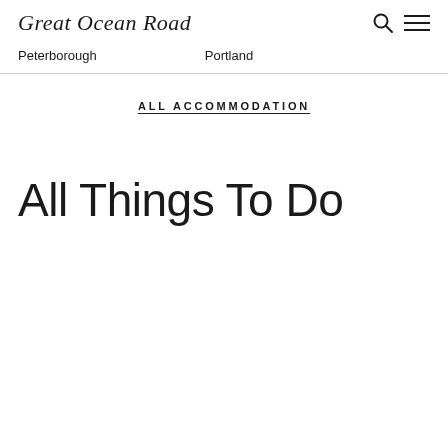Great Ocean Road
Peterborough    Portland
ALL ACCOMMODATION
All Things To Do